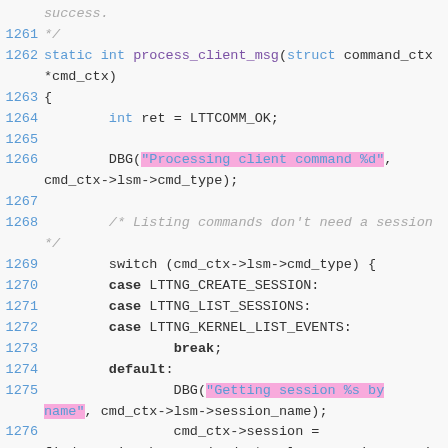source code snippet from a C file, lines 1261-1278
success.
1261  */
1262 static int process_client_msg(struct command_ctx *cmd_ctx)
1263 {
1264         int ret = LTTCOMM_OK;
1265
1266         DBG("Processing client command %d", cmd_ctx->lsm->cmd_type);
1267
1268         /* Listing commands don't need a session */
1269         switch (cmd_ctx->lsm->cmd_type) {
1270         case LTTNG_CREATE_SESSION:
1271         case LTTNG_LIST_SESSIONS:
1272         case LTTNG_KERNEL_LIST_EVENTS:
1273                 break;
1274         default:
1275                 DBG("Getting session %s by name", cmd_ctx->lsm->session_name);
1276                 cmd_ctx->session = find_session_by_name(cmd_ctx->lsm->session_name);
1277                 if (cmd_ctx->session == NULL) {
1278                         /* If session name not found */